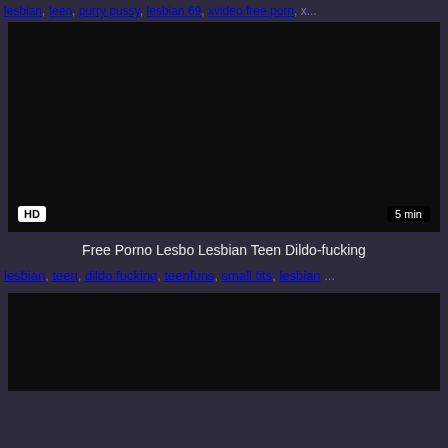lesbian, teen, purry pussy, lesbian 69, xvideo free porn, x...
[Figure (screenshot): Dark video thumbnail with HD badge and 5 min duration label]
Free Porno Lesbo Lesbian Teen Dildo-fucking
lesbian, teen, dildo fucking, teenfuns, small tits, lesbian ...
[Figure (screenshot): Dark video thumbnail, partially visible at bottom of page]